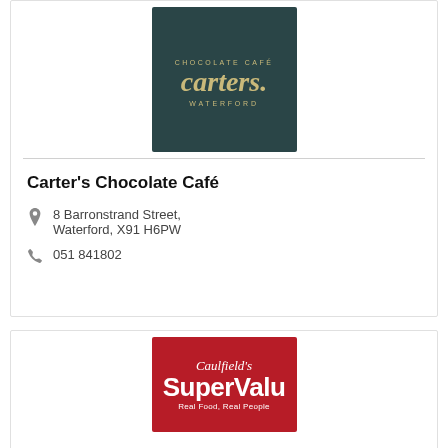[Figure (logo): Carter's Chocolate Café logo — dark teal square with gold text 'CHOCOLATE CAFÉ' arced at top, 'carters.' in large italic serif, 'WATERFORD' arced at bottom]
Carter's Chocolate Café
8 Barronstrand Street, Waterford, X91 H6PW
051 841802
[Figure (logo): Caulfield's SuperValu logo — red rectangle with white text 'Caulfield's' in italic script, 'SuperValu' in large bold sans-serif, 'Real Food, Real People' tagline below]